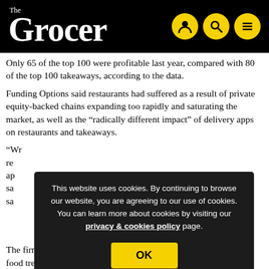The Grocer
Only 65 of the top 100 were profitable last year, compared with 80 of the top 100 takeaways, according to the data.
Funding Options said restaurants had suffered as a result of private equity-backed chains expanding too rapidly and saturating the market, as well as the “radically different impact” of delivery apps on restaurants and takeaways.
“W... re... ap... sa... sa...
[Figure (screenshot): Cookie consent overlay banner on The Grocer website. Dark background panel with white text: 'This website uses cookies. By continuing to browse our website, you are agreeing to our use of cookies. You can learn more about cookies by visiting our privacy & cookies policy page.' with a yellow OK button.]
The firm said takeaways had also been quicker to adapt to rising food trends including veganism.